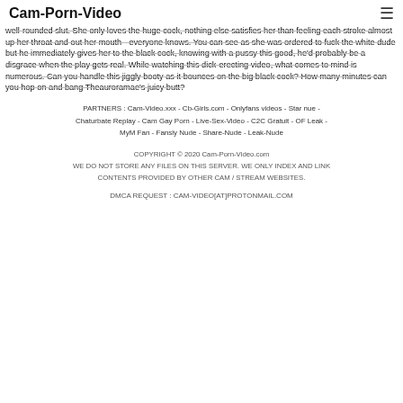Cam-Porn-Video
well-rounded slut. She only loves the huge cock, nothing else satisfies her than feeling each stroke almost up her throat and out her mouth - everyone knows. You can see as she was ordered to fuck the white dude but he immediately gives her to the black cock, knowing with a pussy this good, he'd probably be a disgrace when the play gets real. While watching this dick-erecting video, what comes to mind is numerous. Can you handle this jiggly booty as it bounces on the big black cock? How many minutes can you hop on and bang Theauroramae's juicy butt?
PARTNERS : Cam-Video.xxx - Cb-Girls.com - Onlyfans videos - Star nue - Chaturbate Replay - Cam Gay Porn - Live-Sex-Video - C2C Gratuit - OF Leak - MyM Fan - Fansly Nude - Share-Nude - Leak-Nude
COPYRIGHT © 2020 Cam-Porn-Video.com WE DO NOT STORE ANY FILES ON THIS SERVER. WE ONLY INDEX AND LINK CONTENTS PROVIDED BY OTHER CAM / STREAM WEBSITES.
DMCA REQUEST : CAM-VIDEO[AT]PROTONMAIL.COM